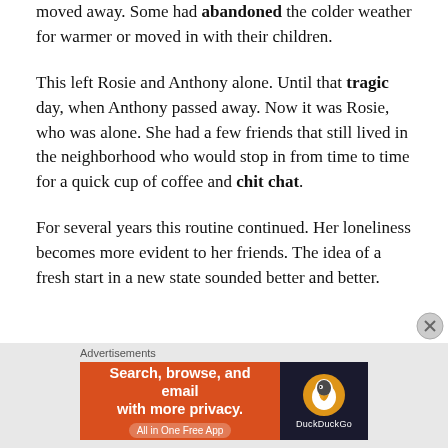moved away. Some had abandoned the colder weather for warmer or moved in with their children.
This left Rosie and Anthony alone. Until that tragic day, when Anthony passed away. Now it was Rosie, who was alone. She had a few friends that still lived in the neighborhood who would stop in from time to time for a quick cup of coffee and chit chat.
For several years this routine continued. Her loneliness becomes more evident to her friends. The idea of a fresh start in a new state sounded better and better.
[Figure (screenshot): DuckDuckGo advertisement banner: orange left section with text 'Search, browse, and email with more privacy. All in One Free App' and dark right section with DuckDuckGo duck logo and brand name.]